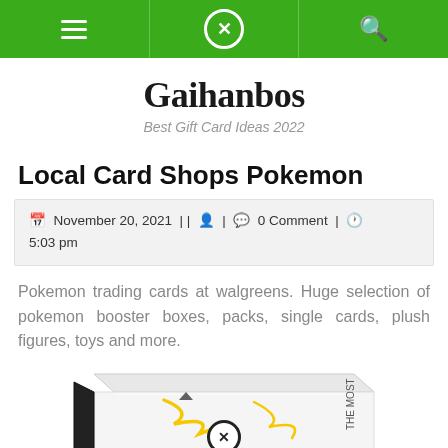Navigation bar with menu, close, and search icons
Gaihanbos
Best Gift Card Ideas 2022
Local Card Shops Pokemon
November 20, 2021 | | 👤 | 💬 0 Comment | ⏰ 5:03 pm
Pokemon trading cards at walgreens. Huge selection of pokemon booster boxes, packs, single cards, plush figures, toys and more.
[Figure (photo): A Pokemon booster box (white with yellow Pikachu design) partially visible at the bottom of the page, with a close/X circle icon overlay in the center.]